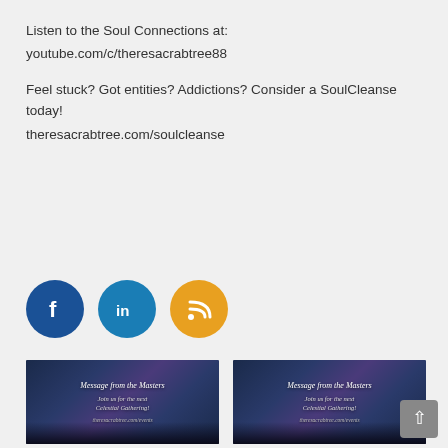Listen to the Soul Connections at:
youtube.com/c/theresacrabtree88
Feel stuck? Got entities? Addictions? Consider a SoulCleanse today!
theresacrabtree.com/soulcleanse
[Figure (infographic): Three circular social media icons: Facebook (dark blue), LinkedIn (mid blue), RSS (orange)]
[Figure (photo): Thumbnail image with starry night sky background and text: Message from the Masters, Join us for the next Celestial Gathering!, theresacrabtree.com/events]
Message from the Masters:
[Figure (photo): Thumbnail image with starry night sky background and text: Message from the Masters, Join us for the next Celestial Gathering!, theresacrabtree.com/events]
Message from the Masters